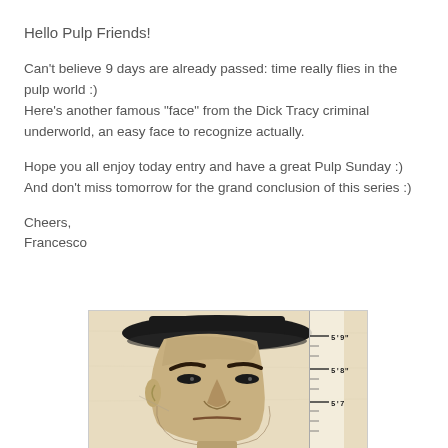Hello Pulp Friends!
Can't believe 9 days are already passed: time really flies in the pulp world :)
Here's another famous "face" from the Dick Tracy criminal underworld, an easy face to recognize actually.
Hope you all enjoy today entry and have a great Pulp Sunday :)
And don't miss tomorrow for the grand conclusion of this series :)
Cheers,
Francesco
[Figure (illustration): A mugshot-style illustration of a Dick Tracy villain character, showing a caricatured face with exaggerated features, wearing a dark hat. A height measurement ruler is visible on the right side showing 5'9", 5'8", and partial markings below. The background is aged/sepia-toned paper.]